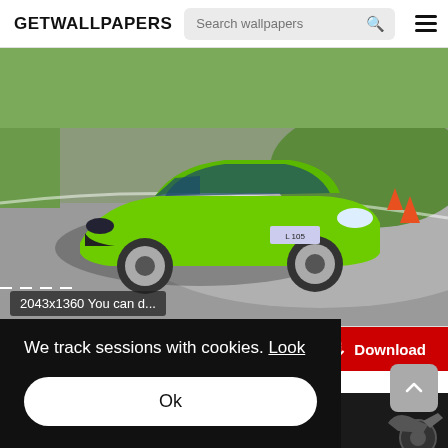GETWALLPAPERS
[Figure (screenshot): Screenshot of GETWALLPAPERS website showing a green Lamborghini Huracán sports car on a race track]
2043x1360 You can d...
We track sessions with cookies. Look
Ok
Download